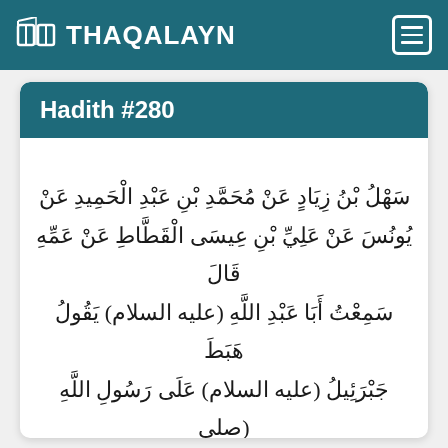THAQALAYN
Hadith #280
سَهْلُ بْنُ زِيَادٍ عَنْ مُحَمَّدِ بْنِ عَبْدِ الْحَمِيدِ عَنْ يُونُسَ عَنْ عَلِيِّ بْنِ عِيسَى الْقَطَّاطِ عَنْ عَمِّهِ قَالَ سَمِعْتُ أَبَا عَبْدِ اللَّهِ (عليه السلام) يَقُولُ هَبَطَ جَبْرَئِيلُ (عليه السلام) عَلَى رَسُولِ اللَّهِ (صلى الله عليه وآله) وَ رَسُولُ اللَّهِ (صلى الله عليه وآله) كَئِيبٌ حَزِينٌ فَقَالَ يَا رَسُولَ اللَّهِ مَا لَى